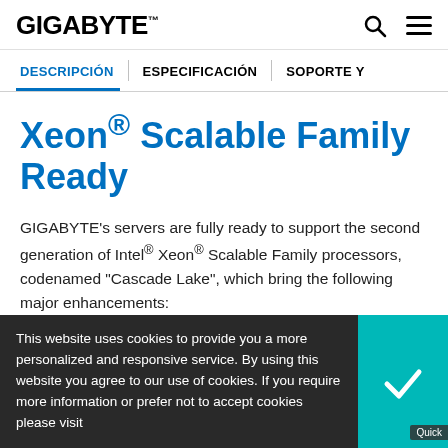GIGABYTE
DESCRIPCIÓN | ESPECIFICACIÓN | SOPORTE Y
Xeon® Scalable Family Ready
GIGABYTE's servers are fully ready to support the second generation of Intel® Xeon® Scalable Family processors, codenamed "Cascade Lake", which bring the following major enhancements:
This website uses cookies to provide you a more personalized and responsive service. By using this website you agree to our use of cookies. If you require more information or prefer not to accept cookies please visit